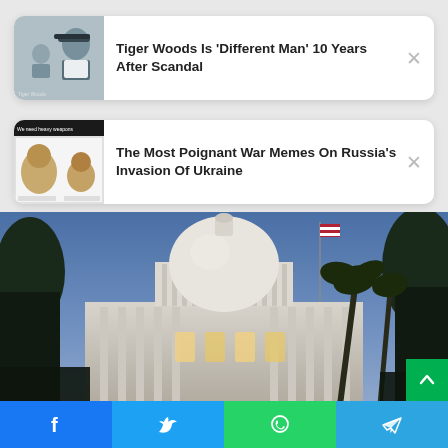[Figure (photo): News card with photo of Tiger Woods with a child, headline: Tiger Woods Is 'Different Man' 10 Years After Scandal]
Tiger Woods Is 'Different Man' 10 Years After Scandal
[Figure (photo): News card with meme image about Russia's invasion of Ukraine, headline: The Most Poignant War Memes On Russia's Invasion Of Ukraine]
The Most Poignant War Memes On Russia's Invasion Of Ukraine
[Figure (photo): Photo of a government capitol building dome at dusk/evening with palm trees and an American flag]
[Figure (infographic): Social share bar with Facebook, Twitter, WhatsApp, and Telegram buttons]